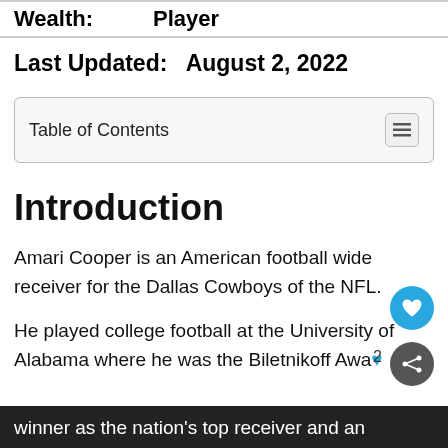Wealth:   Player
Last Updated:   August 2, 2022
Table of Contents
Introduction
Amari Cooper is an American football wide receiver for the Dallas Cowboys of the NFL.
He played college football at the University of Alabama where he was the Biletnikoff Award winner as the nation's top receiver and an